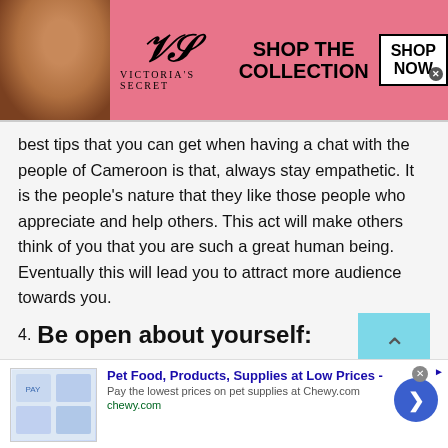[Figure (other): Victoria's Secret advertisement banner with model photo, VS logo, 'SHOP THE COLLECTION' text, and 'SHOP NOW' button]
best tips that you can get when having a chat with the people of Cameroon is that, always stay empathetic. It is the people's nature that they like those people who appreciate and help others. This act will make others think of you that you are such a great human being. Eventually this will lead you to attract more audience towards you.
4. Be open about yourself:
[Figure (other): Chewy.com pet food advertisement banner with product images, title 'Pet Food, Products, Supplies at Low Prices -', description text, URL, and blue arrow button]